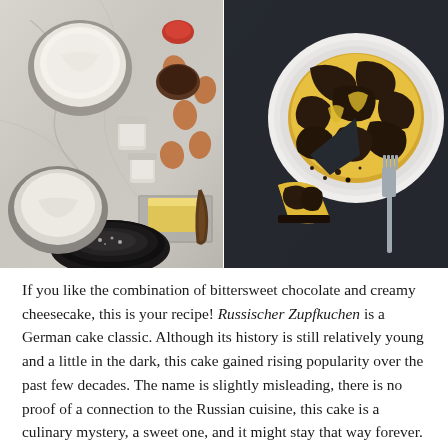[Figure (photo): Two food photos side by side: left shows baking ingredients on a marble surface (cream in bowl, eggs, small jars, butter, vanilla bean, black bowl with powder); right shows a German Russischer Zupfkuchen (chocolate cheesecake) sliced on a dark plate against a dark background, with a fork beside it.]
If you like the combination of bittersweet chocolate and creamy cheesecake, this is your recipe! Russischer Zupfkuchen is a German cake classic. Although its history is still relatively young and a little in the dark, this cake gained rising popularity over the past few decades. The name is slightly misleading, there is no proof of a connection to the Russian cuisine, this cake is a culinary mystery, a sweet one, and it might stay that way forever.